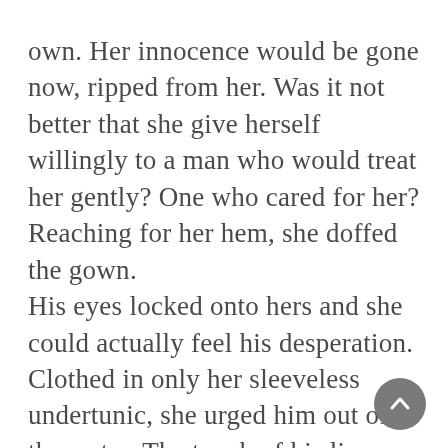own. Her innocence would be gone now, ripped from her. Was it not better that she give herself willingly to a man who would treat her gently? One who cared for her?
Reaching for her hem, she doffed the gown.
His eyes locked onto hers and she could actually feel his desperation. Clothed in only her sleeveless undertunic, she urged him out of the water. The touch of his lips was tentative now, but she wrapped her arms around him, pulling him against her. He was hard for her and she canted her hips to feel him more fully against her.
Marcán yanked back, his breath heaving with his struggle for self-